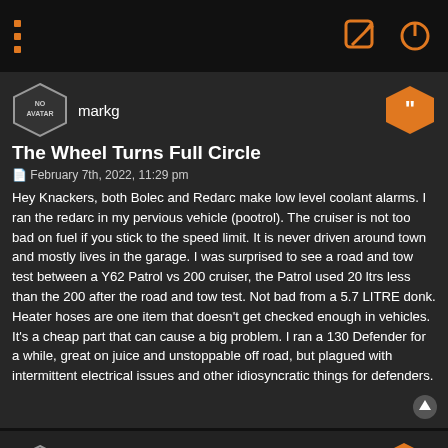Top navigation bar with menu dots and edit/power icons
markg
The Wheel Turns Full Circle
February 7th, 2022, 11:29 pm
Hey Knackers, both Bolec and Redarc make low level coolant alarms. I ran the redarc in my pervious vehicle (pootrol). The cruiser is not too bad on fuel if you stick to the speed limit. It is never driven around town and mostly lives in the garage. I was surprised to see a road and tow test between a Y62 Patrol vs 200 cruiser, the Patrol used 20 ltrs less than the 200 after the road and tow test. Not bad from a 5.7 LITRE donk. Heater hoses are one item that doesn't get checked enough in vehicles. It's a cheap part that can cause a big problem. I ran a 130 Defender for a while, great on juice and unstoppable off road, but plagued with intermittent electrical issues and other idiosyncratic things for defenders.
Knackers
The Wheel Turns Full Circle